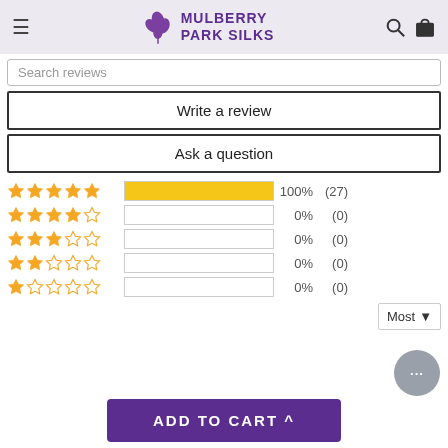Mulberry Park Silks
Search reviews
Write a review
Ask a question
| Stars | Bar | Percent | Count |
| --- | --- | --- | --- |
| 5 stars | 100% | 100% | (27) |
| 4 stars |  | 0% | (0) |
| 3 stars |  | 0% | (0) |
| 2 stars |  | 0% | (0) |
| 1 star |  | 0% | (0) |
Most
ADD TO CART